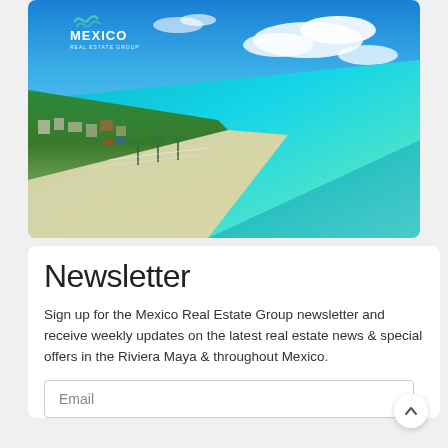[Figure (photo): Aerial view of Riviera Maya coastline showing turquoise Caribbean sea, white sandy beach, and tropical town with palm trees. Mexico Real Estate Group logo overlaid in top-left corner.]
Newsletter
Sign up for the Mexico Real Estate Group newsletter and receive weekly updates on the latest real estate news & special offers in the Riviera Maya & throughout Mexico.
Email